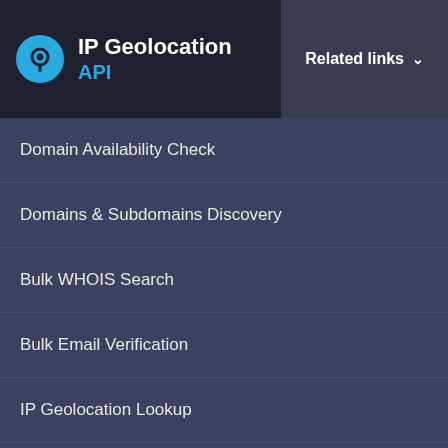IP Geolocation API
Domain Availability Check
Domains & Subdomains Discovery
Bulk WHOIS Search
Bulk Email Verification
IP Geolocation Lookup
WhoisXML API uses cookies to provide you with the best user experience on our website. They also help us understand how our site is being used. Find out more here. By continuing to use our site you consent to the use of cookies.